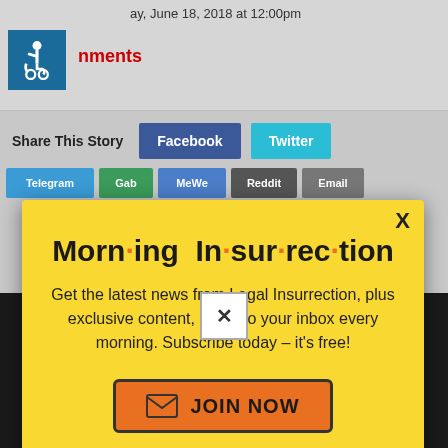ay, June 18, 2018 at 12:00pm
nments
Share This Story  Facebook  Twitter  Telegram  Gab  MeWe  Reddit  Email
[Figure (screenshot): Yellow modal popup for Morning Insurrection newsletter signup with orange JOIN NOW button]
STUDIES